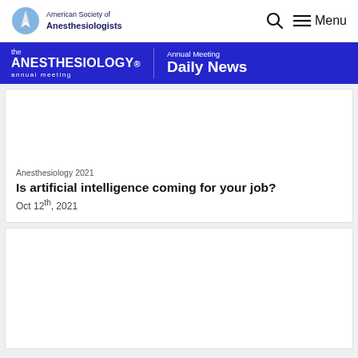American Society of Anesthesiologists
[Figure (logo): American Society of Anesthesiologists logo with lighthouse icon]
[Figure (logo): The Anesthesiology Annual Meeting — Annual Meeting Daily News banner]
Anesthesiology 2021
Is artificial intelligence coming for your job?
Oct 12th, 2021